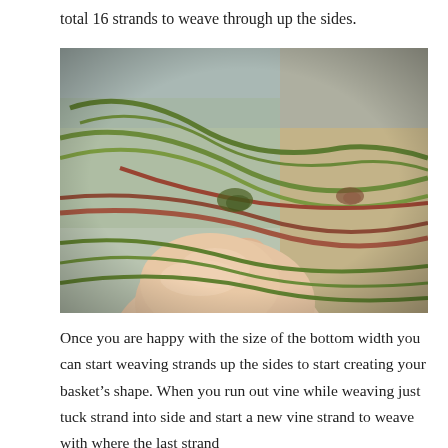total 16 strands to weave through up the sides.
[Figure (photo): Close-up photo of a hand weaving green and reddish-brown vine strands together, with a blurred background showing a wooden surface and kitchen environment.]
Once you are happy with the size of the bottom width you can start weaving strands up the sides to start creating your basket’s shape. When you run out vine while weaving just tuck strand into side and start a new vine strand to weave with where the last strand